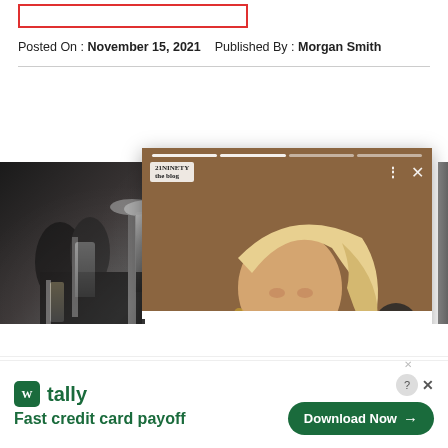[Figure (other): Red outlined rectangle box at top of page (header placeholder)]
Posted On : November 15, 2021   Published By : Morgan Smith
[Figure (screenshot): Screenshot overlay showing a social media story card with a woman with blonde hair on brown background, title 'I Tried Beats x Kim - Here Are My Thoughts! - 21Ninety', with progress bar, logo, and navigation icons. Behind it is a black and white photo of candles/lamps.]
I Tried Beats x Kim - Here Are My Thoughts! - 21Ninety
[Figure (infographic): Tally app advertisement banner: 'tally - Fast credit card payoff' with a green Download Now button and close/help icons]